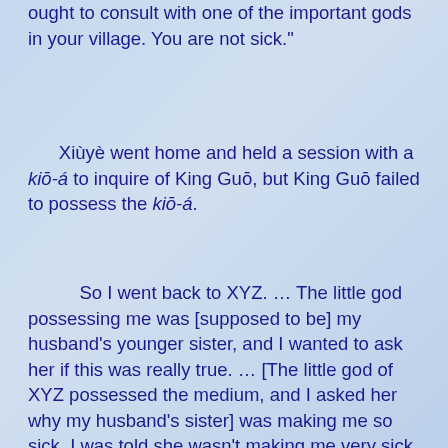ought to consult with one of the important gods in your village. You are not sick."
Xiùyè went home and held a session with a kiō-á to inquire of King Guō, but King Guō failed to possess the kiō-á.
So I went back to XYZ. … The little god possessing me was [supposed to be] my husband's younger sister, and I wanted to ask her if this was really true. … [The little god of XYZ possessed the medium, and I asked her why my husband's sister] was making me so sick. I was told she wasn't making me very sick at all, and that she had become a little god too and wanted me to be her tâng-ki. I was too stunned to react. A little god has no power and can't satisfy people. If one is thinking about being a